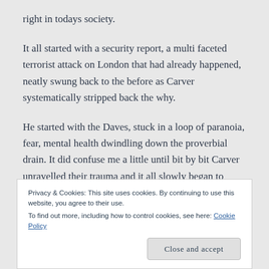right in todays society.
It all started with a security report, a multi faceted terrorist attack on London that had already happened, neatly swung back to the before as Carver systematically stripped back the why.
He started with the Daves, stuck in a loop of paranoia, fear, mental health dwindling down the proverbial drain. It did confuse me a little until bit by bit Carver unravelled their trauma and it all slowly began to
Privacy & Cookies: This site uses cookies. By continuing to use this website, you agree to their use.
To find out more, including how to control cookies, see here: Cookie Policy
Close and accept